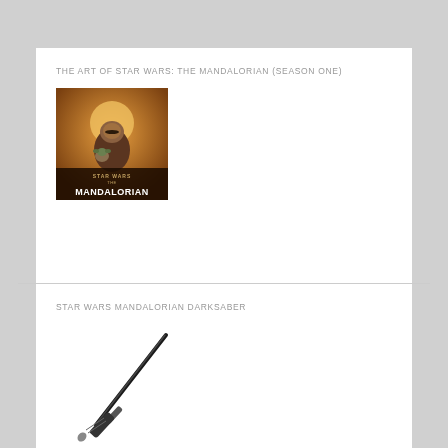THE ART OF STAR WARS: THE MANDALORIAN (SEASON ONE)
[Figure (photo): Book cover of The Art of Star Wars: The Mandalorian (Season One) showing Mandalorian armored character holding Baby Yoda against an orange/brown background with STAR WARS THE MANDALORIAN title text]
STAR WARS MANDALORIAN DARKSABER
[Figure (photo): A black Darksaber lightsaber prop/toy shown diagonally against white background]